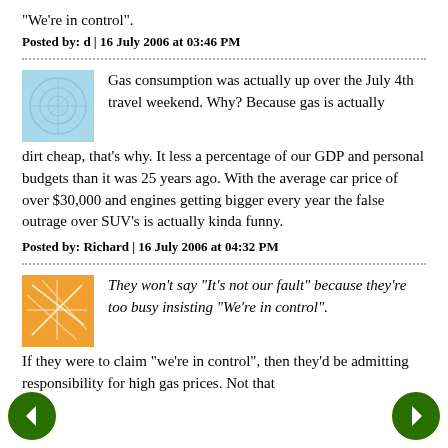"We're in control".
Posted by: d | 16 July 2006 at 03:46 PM
Gas consumption was actually up over the July 4th travel weekend. Why? Because gas is actually dirt cheap, that's why. It less a percentage of our GDP and personal budgets than it was 25 years ago. With the average car price of over $30,000 and engines getting bigger every year the false outrage over SUV's is actually kinda funny.
Posted by: Richard | 16 July 2006 at 04:32 PM
They won't say "It's not our fault" because they're too busy insisting "We're in control".
If they were to claim "we're in control", then they'd be admitting responsibility for high gas prices. Not that